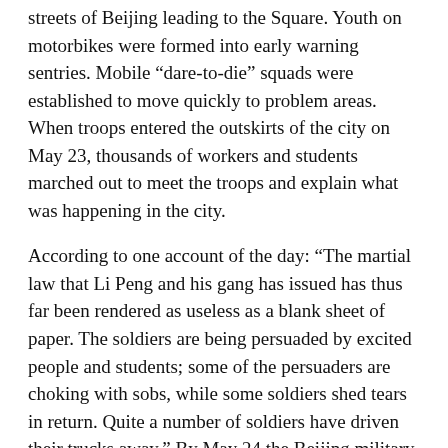streets of Beijing leading to the Square. Youth on motorbikes were formed into early warning sentries. Mobile “dare-to-die” squads were established to move quickly to problem areas. When troops entered the outskirts of the city on May 23, thousands of workers and students marched out to meet the troops and explain what was happening in the city.
According to one account of the day: “The martial law that Li Peng and his gang has issued has thus far been rendered as useless as a blank sheet of paper. The soldiers are being persuaded by excited people and students; some of the persuaders are choking with sobs, while some soldiers shed tears in return. Quite a number of soldiers have driven their trucks away.” By May 24 the Beijing military units had been completely withdrawn from the city. The government feared they would join the workers. Mass demonstrations were taking place across China in support of Beijing.